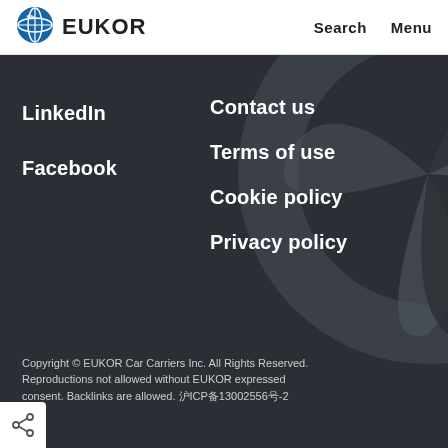[Figure (logo): EUKOR globe logo with text EUKOR]
Search   Menu
LinkedIn
Facebook
Contact us
Terms of use
Cookie policy
Privacy policy
Copyright © EUKOR Car Carriers Inc. All Rights Reserved. Reproductions not allowed without EUKOR expressed consent. Backlinks are allowed. 沪ICP备13002556号-2